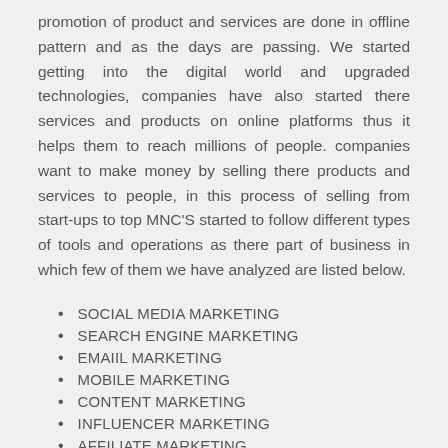promotion of product and services are done in offline pattern and as the days are passing. We started getting into the digital world and upgraded technologies, companies have also started there services and products on online platforms thus it helps them to reach millions of people. companies want to make money by selling there products and services to people, in this process of selling from start-ups to top MNC'S started to follow different types of tools and operations as there part of business in which few of them we have analyzed are listed below.
SOCIAL MEDIA MARKETING
SEARCH ENGINE MARKETING
EMAIIL MARKETING
MOBILE MARKETING
CONTENT MARKETING
INFLUENCER MARKETING
AFFILIATE MARKETING